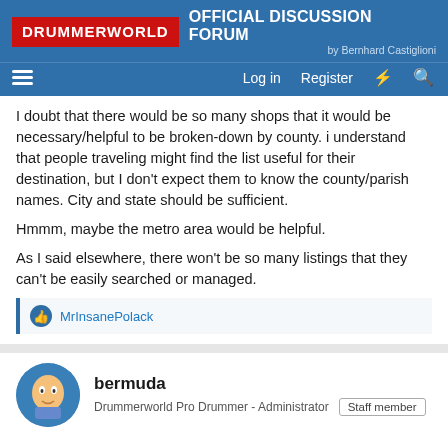DRUMMERWORLD OFFICIAL DISCUSSION FORUM by Bernhard Castiglioni
I doubt that there would be so many shops that it would be necessary/helpful to be broken-down by county. i understand that people traveling might find the list useful for their destination, but I don't expect them to know the county/parish names. City and state should be sufficient.
Hmmm, maybe the metro area would be helpful.
As I said elsewhere, there won't be so many listings that they can't be easily searched or managed.
MrInsanePolack
bermuda
Drummerworld Pro Drummer - Administrator  Staff member